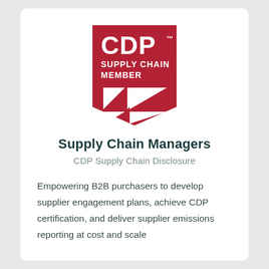[Figure (logo): CDP Supply Chain Member logo: red shield/badge shape with white triangular geometric pattern and white text reading CDP SUPPLY CHAIN MEMBER]
Supply Chain Managers
CDP Supply Chain Disclosure
Empowering B2B purchasers to develop supplier engagement plans, achieve CDP certification, and deliver supplier emissions reporting at cost and scale